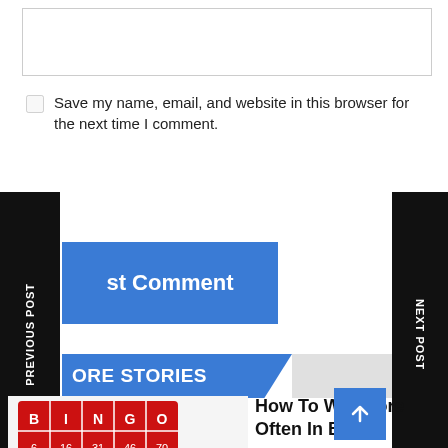[text input area - comment box]
Save my name, email, and website in this browser for the next time I comment.
PREVIOUS POST
NEXT POST
Post Comment
MORE STORIES
[Figure (photo): Bingo cards with red chips showing numbers, multiple overlapping bingo cards]
How To Win More Often In Bingo
Bingo was not always the most popular casino game around. In fact, for the first few decades